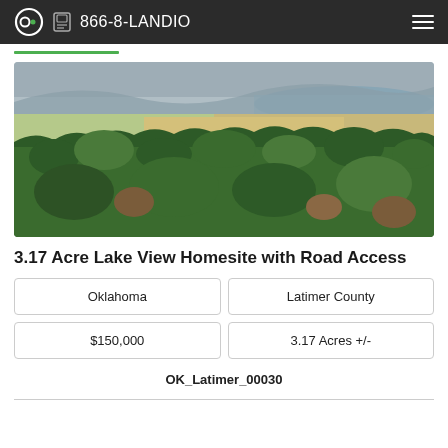866-8-LANDIO
[Figure (photo): Aerial landscape photo showing forested hills in the foreground, open agricultural fields in the middle ground, and a lake with mountains in the background under an overcast sky.]
3.17 Acre Lake View Homesite with Road Access
| Oklahoma | Latimer County |
| $150,000 | 3.17 Acres +/- |
OK_Latimer_00030